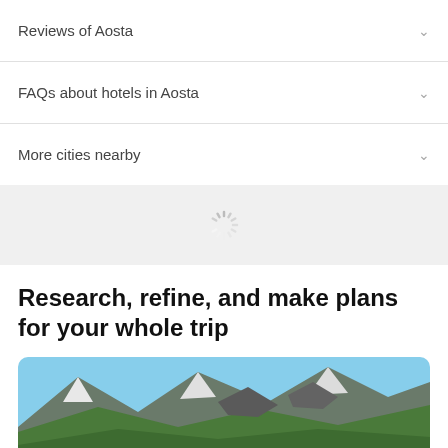Reviews of Aosta
FAQs about hotels in Aosta
More cities nearby
[Figure (infographic): Loading spinner icon (dashed circle)]
Research, refine, and make plans for your whole trip
[Figure (photo): Mountain landscape with rocky peaks, green slopes, and blue sky — Alpine scenery near Aosta]